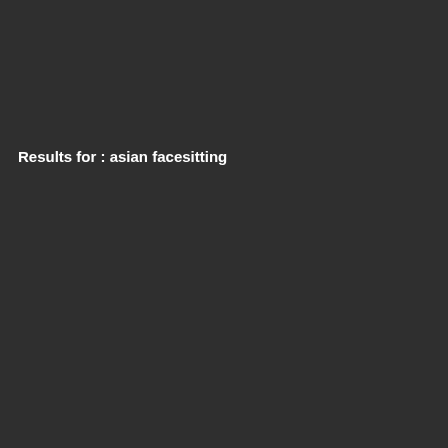Results for : asian facesitting